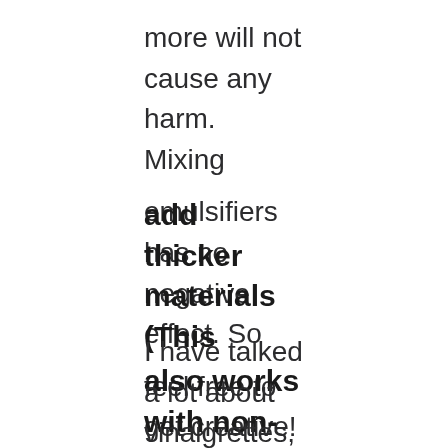more will not cause any harm. Mixing emulsifiers has no negative effect. So feel free to get creative!
add thicker materials (This also works with non-emulsion materials.)
I have talked a lot about vinaigrettes, but forgotten salad dressings that are not based on oils and acids.